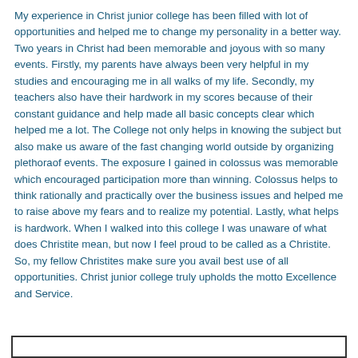My experience in Christ junior college has been filled with lot of opportunities and helped me to change my personality in a better way. Two years in Christ had been memorable and joyous with so many events. Firstly, my parents have always been very helpful in my studies and encouraging me in all walks of my life. Secondly, my teachers also have their hardwork in my scores because of their constant guidance and help made all basic concepts clear which helped me a lot. The College not only helps in knowing the subject but also make us aware of the fast changing world outside by organizing plethoraof events. The exposure I gained in colossus was memorable which encouraged participation more than winning. Colossus helps to think rationally and practically over the business issues and helped me to raise above my fears and to realize my potential. Lastly, what helps is hardwork. When I walked into this college I was unaware of what does Christite mean, but now I feel proud to be called as a Christite. So, my fellow Christites make sure you avail best use of all opportunities. Christ junior college truly upholds the motto Excellence and Service.